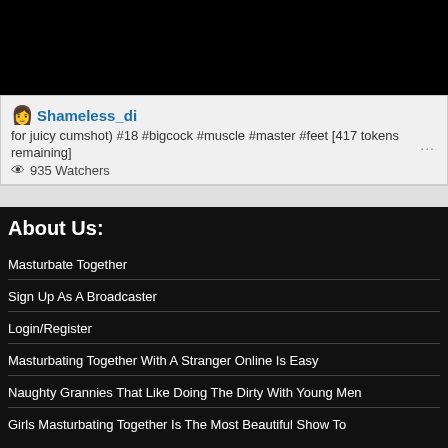[Figure (screenshot): Dark video player area, mostly black with a small profile icon in the top right corner]
Shameless_di
for juicy cumshot) #18 #bigcock #muscle #master #feet [417 tokens remaining]
935 Watchers
About Us:
Masturbate Together
Sign Up As A Broadcaster
Login/Register
Masturbating Together With A Stranger Online Is Easy
Naughty Grannies That Like Doing The Dirty With Young Men
Girls Masturbating Together Is The Most Beautiful Show To